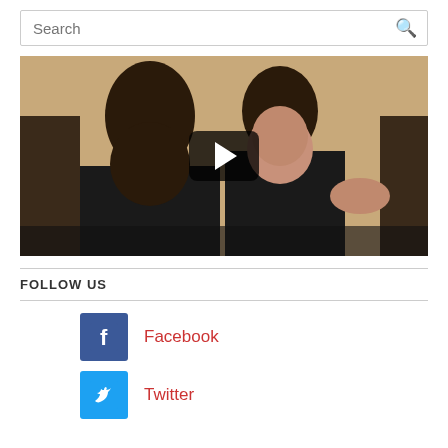[Figure (screenshot): Search bar with magnifying glass icon]
[Figure (photo): Video thumbnail showing two people in formal attire at what appears to be a panel discussion, with a YouTube-style play button overlay]
FOLLOW US
[Figure (logo): Facebook logo icon (blue square with white f)]
Facebook
[Figure (logo): Twitter logo icon (blue square with white bird)]
Twitter